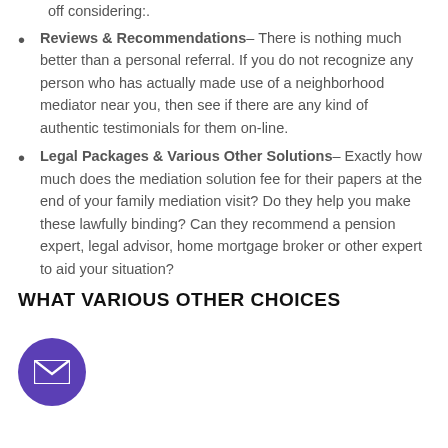they are an ideal fit for your situation. You are much better off considering:.
Reviews & Recommendations– There is nothing much better than a personal referral. If you do not recognize any person who has actually made use of a neighborhood mediator near you, then see if there are any kind of authentic testimonials for them on-line.
Legal Packages & Various Other Solutions– Exactly how much does the mediation solution fee for their papers at the end of your family mediation visit? Do they help you make these lawfully binding? Can they recommend a pension expert, legal advisor, home mortgage broker or other expert to aid your situation?
WHAT VARIOUS OTHER CHOICES